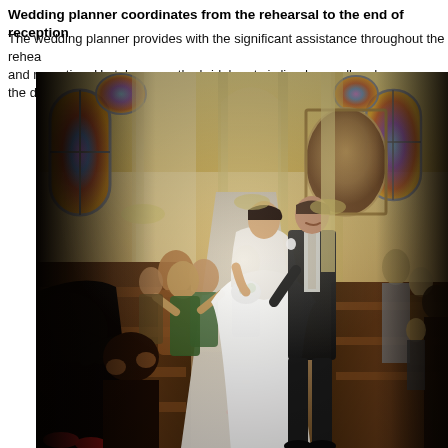Wedding planner coordinates from the rehearsal to the end of reception
The wedding planner provides with the significant assistance throughout the rehearsal and reception. He takes care the bridal party is lined up well and ensures the drum
[Figure (photo): A bride and groom walking down the aisle of an ornate Catholic church after the ceremony. The bride wears a white strapless gown and holds a bouquet of white roses. The groom wears a black suit. Wedding guests stand in the wooden pews on either side, applauding. The church interior features stained glass windows, arched columns, painted murals, and cream-colored walls with gold accents. A white aisle runner leads toward the camera.]